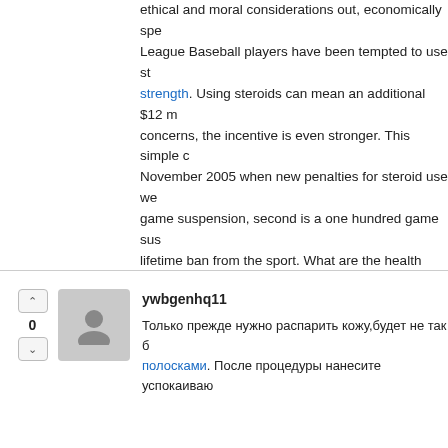ethical and moral considerations out, economically speaking, Major League Baseball players have been tempted to use steroids to boost strength. Using steroids can mean an additional $12 m concerns, the incentive is even stronger. This simple c November 2005 when new penalties for steroid use we game suspension, second is a one hundred game sus lifetime ban from the sport. What are the health conse data on the long-term effects of anabolic steroids in hu disrupts the normal production of hormones in the bod Institute on Drug Abuse (NIDA), Long term effects of a term for these compounds is anabolic-androgenic ster to give the body's hormonal system a periodic Howeve the same brain pathways and
ywbgenhq11
Только прежде нужно распарить кожу,будет не так б полосками. После процедуры нанесите успокаиваю